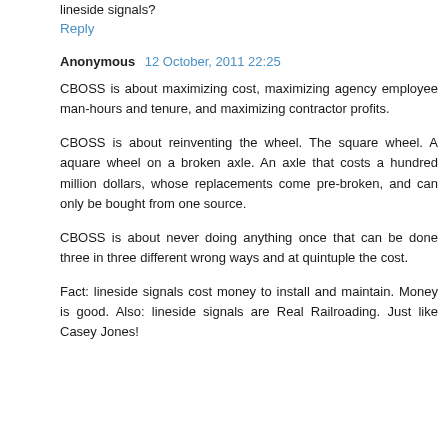lineside signals?
Reply
Anonymous  12 October, 2011 22:25
CBOSS is about maximizing cost, maximizing agency employee man-hours and tenure, and maximizing contractor profits.
CBOSS is about reinventing the wheel. The square wheel. A aquare wheel on a broken axle. An axle that costs a hundred million dollars, whose replacements come pre-broken, and can only be bought from one source.
CBOSS is about never doing anything once that can be done three in three different wrong ways and at quintuple the cost.
Fact: lineside signals cost money to install and maintain. Money is good. Also: lineside signals are Real Railroading. Just like Casey Jones!